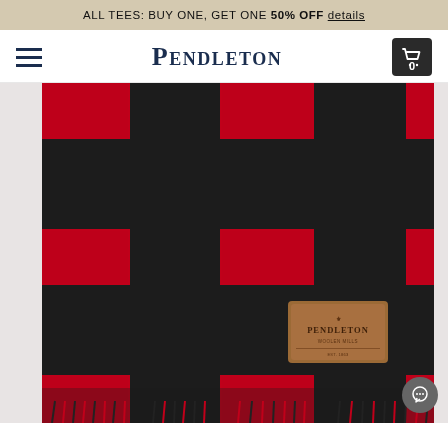ALL TEES: BUY ONE, GET ONE 50% OFF details
[Figure (logo): Pendleton logo with hamburger menu and cart icon showing 0 items]
[Figure (photo): Close-up of a red and black buffalo check wool blanket/scarf with fringe at the bottom and a brown leather Pendleton brand patch on the lower right portion]